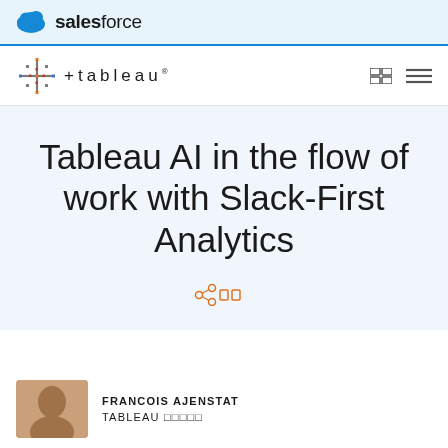salesforce
[Figure (logo): Tableau logo with colorful plus-mark icon and stylized text '+tableau']
Tableau AI in the flow of work with Slack-First Analytics
[Figure (other): Share and bookmark icons in orange]
FRANCOIS AJENSTAT
TABLEAU □□□□□